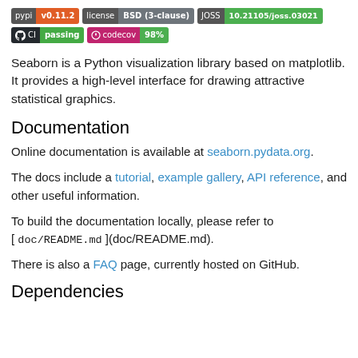[Figure (infographic): Badge row 1: pypi v0.11.2, license BSD (3-clause), JOSS 10.21105/joss.03021]
[Figure (infographic): Badge row 2: GitHub CI passing, codecov 98%]
Seaborn is a Python visualization library based on matplotlib. It provides a high-level interface for drawing attractive statistical graphics.
Documentation
Online documentation is available at seaborn.pydata.org.
The docs include a tutorial, example gallery, API reference, and other useful information.
To build the documentation locally, please refer to [ doc/README.md ](doc/README.md).
There is also a FAQ page, currently hosted on GitHub.
Dependencies